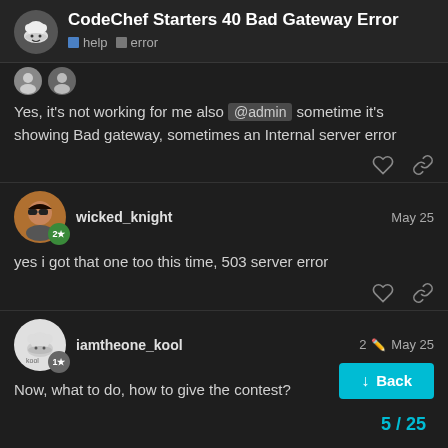CodeChef Starters 40 Bad Gateway Error help error
Yes, it's not working for me also @admin sometime it's showing Bad gateway, sometimes an Internal server error
wicked_knight May 25
yes i got that one too this time, 503 server error
iamtheone_kool 2 May 25
Now, what to do, how to give the contest?
5 / 25